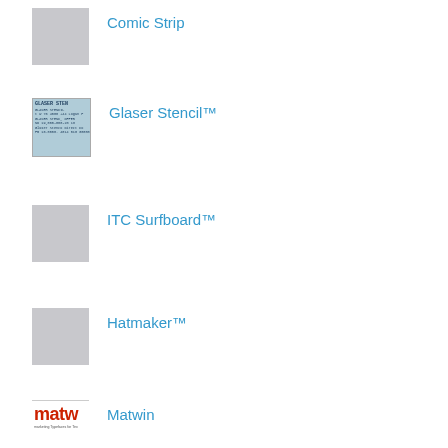[Figure (illustration): Gray placeholder thumbnail for Comic Strip font]
Comic Strip
[Figure (illustration): Glaser Stencil font specimen thumbnail showing stencil-style text]
Glaser Stencil™
[Figure (illustration): Gray placeholder thumbnail for ITC Surfboard font]
ITC Surfboard™
[Figure (illustration): Gray placeholder thumbnail for Hatmaker font]
Hatmaker™
[Figure (logo): Matwin font logo in red bold letters]
Matwin